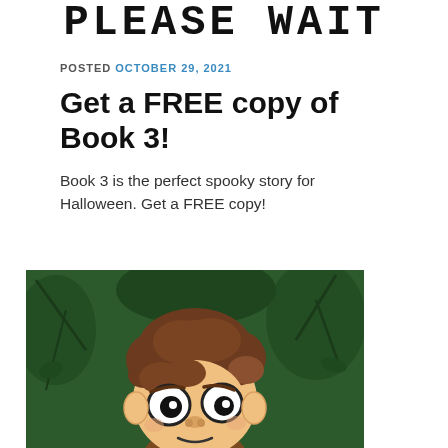PLEASE WAIT
POSTED OCTOBER 29, 2021
Get a FREE copy of Book 3!
Book 3 is the perfect spooky story for Halloween. Get a FREE copy!
[Figure (illustration): Cartoon illustration of a scared boy with curly brown hair and wide eyes against a dark green forest background]